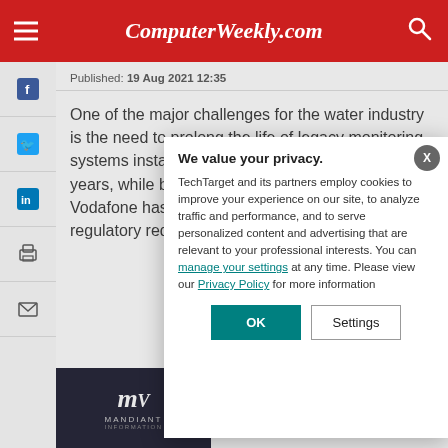ComputerWeekly.com
Published: 19 Aug 2021 12:35
One of the major challenges for the water industry is the need to prolong the life of legacy monitoring systems installed, in some cases, over the last 30 years, while bec[oming more efficient and meeting sustainability] targets. To addre[ss this challenge,] Vodafone has la[unched a cellular-] based technolog[y to extend legacy] systems, increas[ing efficiency and meeting] regulatory requir[ements.]
[Figure (logo): Mandiant Information Security logo on dark background]
We value your privacy.
TechTarget and its partners employ cookies to improve your experience on our site, to analyze traffic and performance, and to serve personalized content and advertising that are relevant to your professional interests. You can manage your settings at any time. Please view our Privacy Policy for more information